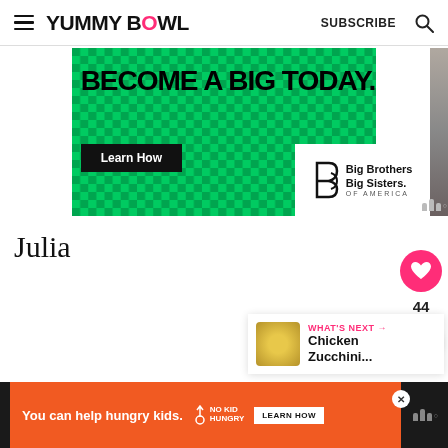YUMMY BOWL | SUBSCRIBE
[Figure (screenshot): Advertisement banner: green background with text 'BECOME A BIG TODAY.' and a 'Learn How' button, featuring Big Brothers Big Sisters of America logo]
Julia
[Figure (infographic): Heart/like button (pink circle with heart icon), count of 44, and share button (white circle with share icon)]
WHAT'S NEXT → Chicken Zucchini...
[Figure (screenshot): Bottom advertisement: orange background with text 'You can help hungry kids.' No Kid Hungry logo and 'LEARN HOW' button on dark background]